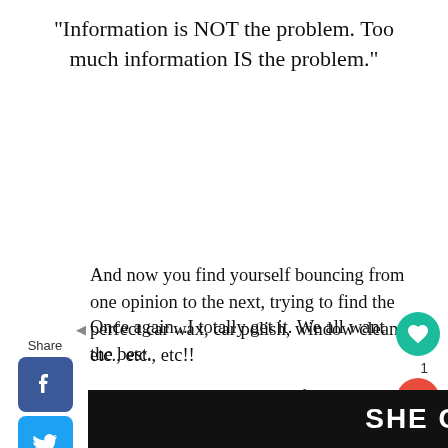"Information is NOT the problem. Too much information IS the problem."
And now you find yourself bouncing from one opinion to the next, trying to find the perfect car wax, car polish, window cleaner, etc., etc., etc!!
Once again...I totally get it. We all want the best.
But your relentless pursuit of the "best" is likely preventing many of you from taking
[Figure (screenshot): SHE CAN STEM banner/advertisement at bottom of page]